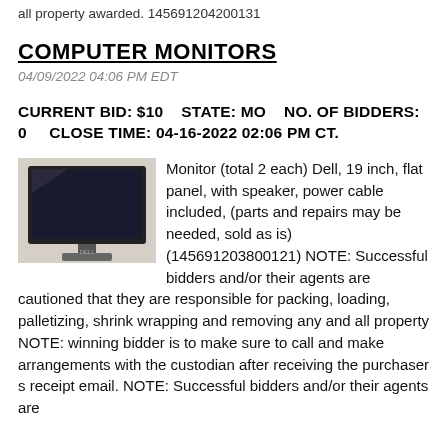all property awarded. 145691204200131
COMPUTER MONITORS
04/09/2022 04:06 PM EDT
CURRENT BID: $10    STATE: MO    NO. OF BIDDERS: 0    CLOSE TIME: 04-16-2022 02:06 PM CT.
Monitor (total 2 each) Dell, 19 inch, flat panel, with speaker, power cable included, (parts and repairs may be needed, sold as is) (145691203800121) NOTE: Successful bidders and/or their agents are cautioned that they are responsible for packing, loading, palletizing, shrink wrapping and removing any and all property NOTE: winning bidder is to make sure to call and make arrangements with the custodian after receiving the purchaser s receipt email. NOTE: Successful bidders and/or their agents are